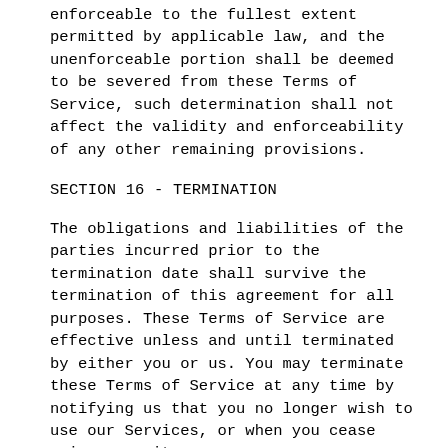enforceable to the fullest extent permitted by applicable law, and the unenforceable portion shall be deemed to be severed from these Terms of Service, such determination shall not affect the validity and enforceability of any other remaining provisions.
SECTION 16 - TERMINATION
The obligations and liabilities of the parties incurred prior to the termination date shall survive the termination of this agreement for all purposes. These Terms of Service are effective unless and until terminated by either you or us. You may terminate these Terms of Service at any time by notifying us that you no longer wish to use our Services, or when you cease using our site. If in our sole judgment you fail, or we suspect that you have failed, to comply with any term or